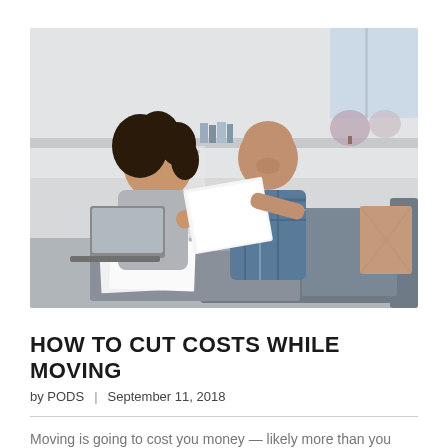[Figure (photo): A couple sitting on a grey couch in a modern living room, smiling and looking at papers together. A laptop is open nearby and papers are on a coffee table. A smartphone sits on the table.]
HOW TO CUT COSTS WHILE MOVING
by PODS  |  September 11, 2018
Moving is going to cost you money — likely more than you think. Getting from one place to another without breaking the bank requires some planning.